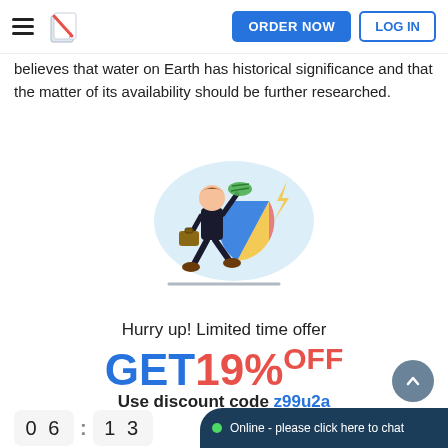ORDER NOW | LOG IN
believes that water on Earth has historical significance and that the matter of its availability should be further researched.
[Figure (illustration): Cartoon illustration of a businessman running with money and a briefcase, with a pie chart in the background on a light blue splash shape.]
Hurry up! Limited time offer
GET19%OFF
Use discount code z99u2a
06 : 13
Online - please click here to chat